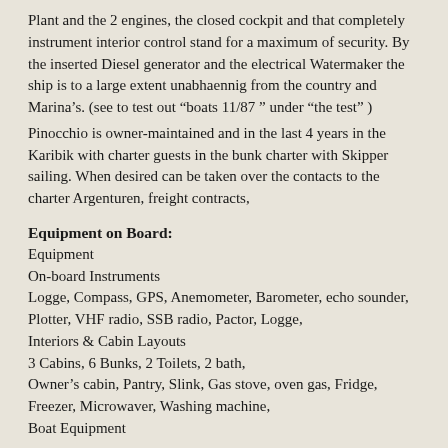Plant and the 2 engines, the closed cockpit and that completely instrument interior control stand for a maximum of security. By the inserted Diesel generator and the electrical Watermaker the ship is to a large extent unabhaennig from the country and Marina's. (see to test out “boats 11/87 ” under “the test” )
Pinocchio is owner-maintained and in the last 4 years in the Karibik with charter guests in the bunk charter with Skipper sailing. When desired can be taken over the contacts to the charter Argenturen, freight contracts,
Equipment on Board:
Equipment
On-board Instruments
Logge, Compass, GPS, Anemometer, Barometer, echo sounder, Plotter, VHF radio, SSB radio, Pactor, Logge,
Interiors & Cabin Layouts
3 Cabins, 6 Bunks, 2 Toilets, 2 bath,
Owner’s cabin, Pantry, Slink, Gas stove, oven gas, Fridge, Freezer, Microwaver, Washing machine,
Boat Equipment